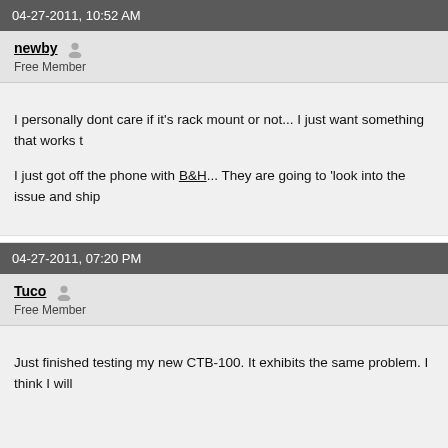04-27-2011, 10:52 AM
newby
Free Member
I personally dont care if it's rack mount or not... I just want something that works t

I just got off the phone with B&H... They are going to 'look into the issue and ship
04-27-2011, 07:20 PM
Tuco
Free Member
Just finished testing my new CTB-100. It exhibits the same problem. I think I will
04-27-2011, 10:29 PM